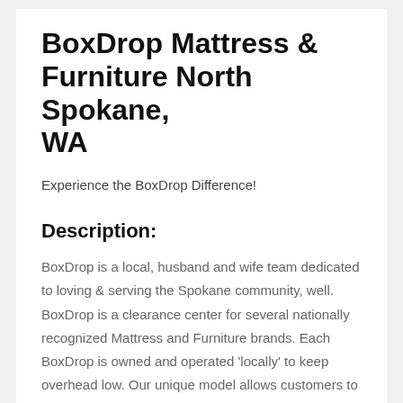BoxDrop Mattress & Furniture North Spokane, WA
Experience the BoxDrop Difference!
Description:
BoxDrop is a local, husband and wife team dedicated to loving & serving the Spokane community, well. BoxDrop is a clearance center for several nationally recognized Mattress and Furniture brands. Each BoxDrop is owned and operated 'locally' to keep overhead low. Our unique model allows customers to purchase inventory at a discount of 50-80% off retail.